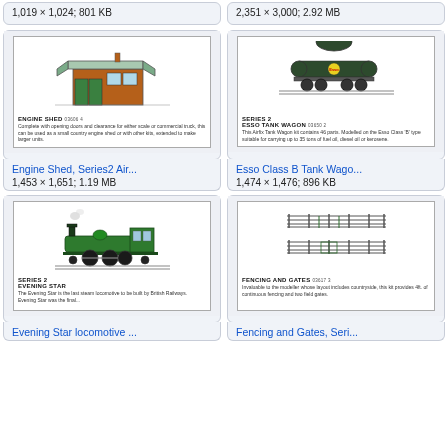1,019 × 1,024; 801 KB
2,351 × 3,000; 2.92 MB
[Figure (photo): Catalog page showing Engine Shed model kit with image and description text: ENGINE SHED. Complete with opening doors and clearance for either scale or commercial truck, this can be used as a small country engine shed or with other kits, extended to make larger units.]
[Figure (photo): Catalog page showing Esso Tank Wagon model kit. SERIES 2 ESSO TANK WAGON. This Airfix Tank Wagon kit contains 46 parts. Modelled on the Esso Class 'B' type suitable for carrying up to 35 tons of fuel oil, diesel oil or kerosene.]
Engine Shed, Series2 Air...
Esso Class B Tank Wago...
1,453 × 1,651; 1.19 MB
1,474 × 1,476; 896 KB
[Figure (photo): Catalog page showing Evening Star locomotive model kit. SERIES 2 EVENING STAR locomotive image with description text.]
[Figure (photo): Catalog page showing Fencing and Gates kit. FENCING AND GATES. Invaluable to the modeller whose layout includes countryside, this kit provides 4ft. of continuous fencing and two field gates.]
Evening Star locomotive ...
Fencing and Gates, Seri...